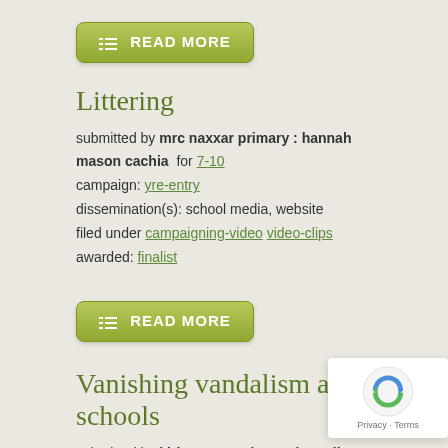[Figure (other): Green 'READ MORE' button with lines icon]
Littering
submitted by mrc naxxar primary : hannah mason cachia  for 7-10
campaign: yre-entry
dissemination(s): school media, website
filed under campaigning-video video-clips
awarded: finalist
[Figure (other): Green 'READ MORE' button with lines icon]
Vanishing vandalism at schools
submitted by kirkop secondary st benedict college : jodie borg  for 11-14
campaign: yre-entry
dissemination(s): other, parent's place of work and local council noticeboard, s...
filed under articles
awarded: finalist
Jodie investigates vandalism in schools, the reason behind it and methods to m...